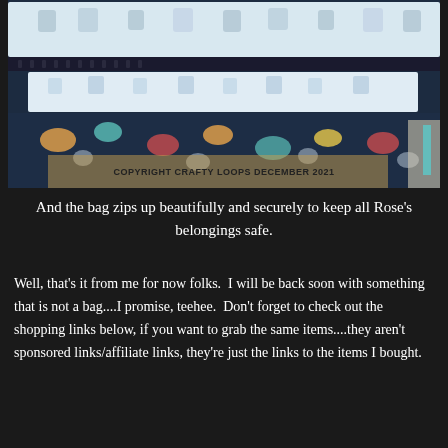[Figure (photo): Photo of the interior of a fabric bag showing a zippered opening. The bag has white fabric with a sloth pattern and a dark navy fabric with colorful animal/sloth prints. A watermark reads 'COPYRIGHT CRAFTY LOOPS DECEMBER 2021'. The bag is resting on a brown cardboard box.]
And the bag zips up beautifully and securely to keep all Rose's belongings safe.
Well, that's it from me for now folks.  I will be back soon with something that is not a bag....I promise, teehee.  Don't forget to check out the shopping links below, if you want to grab the same items....they aren't sponsored links/affiliate links, they're just the links to the items I bought.